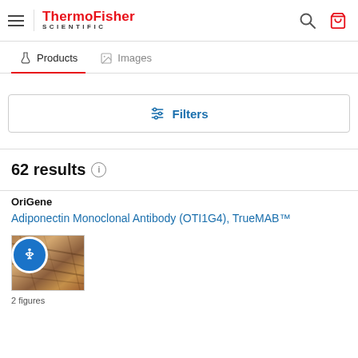ThermoFisher SCIENTIFIC
Products | Images
Filters
62 results
OriGene
Adiponectin Monoclonal Antibody (OTI1G4), TrueMAB™
[Figure (photo): Tissue immunohistochemistry image showing adiponectin antibody staining]
2 figures